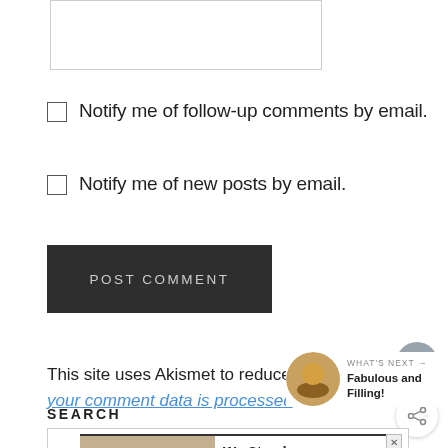[Figure (screenshot): Text area input stub at top of page]
Notify me of follow-up comments by email.
Notify me of new posts by email.
[Figure (screenshot): POST COMMENT dark button]
This site uses Akismet to reduce spam. Learn how your comment data is processed.
[Figure (screenshot): WHAT'S NEXT arrow panel with food photo thumbnail and text: Fabulous and Filling!]
SEARCH
[Figure (screenshot): We Stand Together advertisement banner with group photo]